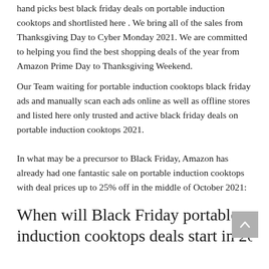hand picks best black friday deals on portable induction cooktops and shortlisted here . We bring all of the sales from Thanksgiving Day to Cyber Monday 2021. We are committed to helping you find the best shopping deals of the year from Amazon Prime Day to Thanksgiving Weekend.
Our Team waiting for portable induction cooktops black friday ads and manually scan each ads online as well as offline stores and listed here only trusted and active black friday deals on portable induction cooktops 2021.
In what may be a precursor to Black Friday, Amazon has already had one fantastic sale on portable induction cooktops with deal prices up to 25% off in the middle of October 2021:
When will Black Friday portable induction cooktops deals start in 2021?